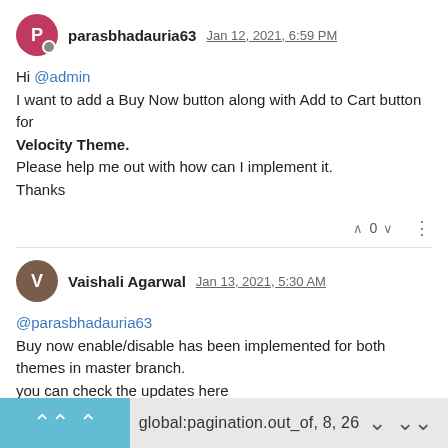parasbhadauria63 Jan 12, 2021, 6:59 PM
Hi @admin
I want to add a Buy Now button along with Add to Cart button for Velocity Theme.
Please help me out with how can I implement it.
Thanks
0
Vaishali Agarwal Jan 13, 2021, 5:30 AM
@parasbhadauria63
Buy now enable/disable has been implemented for both themes in master branch.
you can check the updates here
https://github.com/bagisto/bagisto/issues/4321
1 Reply
0
global:pagination.out_of, 8, 26